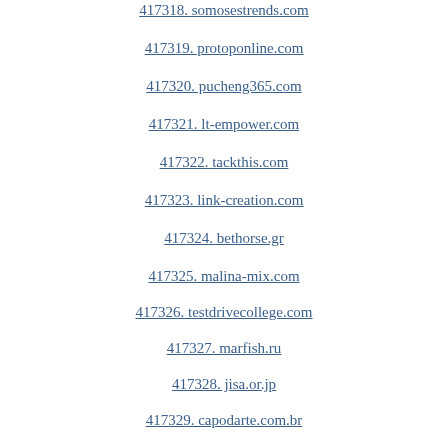417318. somosestrends.com
417319. protoponline.com
417320. pucheng365.com
417321. lt-empower.com
417322. tackthis.com
417323. link-creation.com
417324. bethorse.gr
417325. malina-mix.com
417326. testdrivecollege.com
417327. marfish.ru
417328. jisa.or.jp
417329. capodarte.com.br
417330. netpumper.no
417331. kinovegas.info
417332. 295.ca